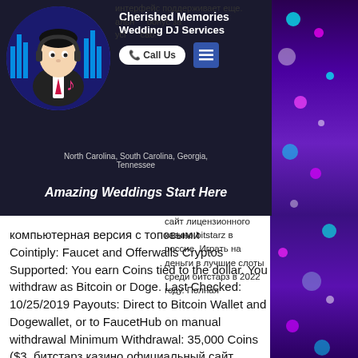[Figure (illustration): Advertisement overlay for 'Cherished Memories Wedding DJ Services' showing an illustrated DJ in a circular frame, with 'Call Us' button, menu icon, location text 'North Carolina, South Carolina, Georgia, Tennessee', and tagline 'Amazing Weddings Start Here']
[Figure (photo): Right-side decorative photo background with purple/teal bokeh bokeh lights effect]
интерфейс поддерживает еще.
альн бонус за
уci сао.
вывода: до 10 минут. Онлайн
т 2020 для
на деньги. Обзор официального сайта битстарз казино. Официальный сайт лицензионного казино bitstarz в россие. Играть на деньги в лучшие слоты среди битстарз в 2022 году. Полная компьютерная версия с топовыми
Cointiply: Faucet and Offerwalls Cryptos Supported: You earn Coins tied to the dollar. You withdraw as Bitcoin or Doge. Last Checked: 10/25/2019 Payouts: Direct to Bitcoin Wallet and Dogewallet, or to FaucetHub on manual withdrawal Minimum Withdrawal: 35,000 Coins ($3, битстарз казино официальный сайт bitstarz casino. The faucet is supported by offerwalls and gambling games.